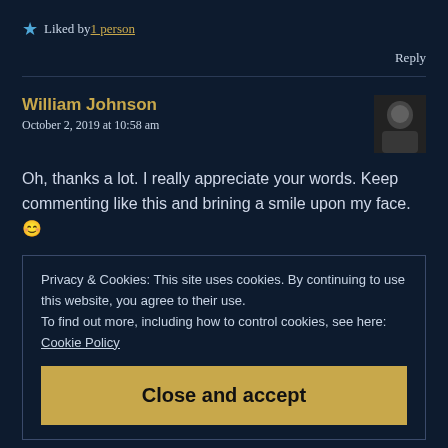★ Liked by 1 person
Reply
William Johnson
October 2, 2019 at 10:58 am
Oh, thanks a lot. I really appreciate your words. Keep commenting like this and brining a smile upon my face. 😊
Privacy & Cookies: This site uses cookies. By continuing to use this website, you agree to their use.
To find out more, including how to control cookies, see here: Cookie Policy
Close and accept